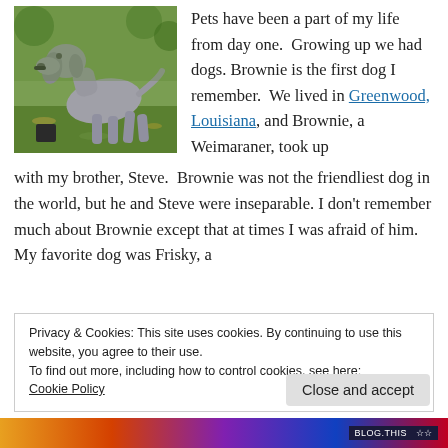[Figure (photo): A Weimaraner dog standing on grass outdoors, viewed from the side, with a dark object near its feet.]
Pets have been a part of my life from day one.  Growing up we had dogs. Brownie is the first dog I remember.  We lived in Greenwood, Louisiana, and Brownie, a Weimaraner, took up with my brother, Steve.  Brownie was not the friendliest dog in the world, but he and Steve were inseparable. I don't remember much about Brownie except that at times I was afraid of him.  My favorite dog was Frisky, a
Privacy & Cookies: This site uses cookies. By continuing to use this website, you agree to their use.
To find out more, including how to control cookies, see here:
Cookie Policy
Close and accept